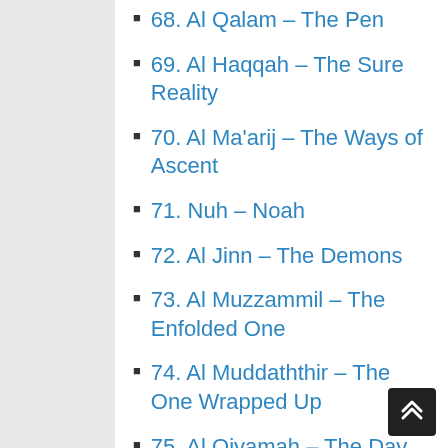68. Al Qalam – The Pen
69. Al Haqqah – The Sure Reality
70. Al Ma'arij – The Ways of Ascent
71. Nuh – Noah
72. Al Jinn – The Demons
73. Al Muzzammil – The Enfolded One
74. Al Muddaththir – The One Wrapped Up
75. Al Qiyamah – The Day of Resurrection
76. Al Insan – The Human
77. Al Mursalat – Those Sent Forth
78. An Naba' – The Great News
79. An Nazi'at – Those Who Tear Out